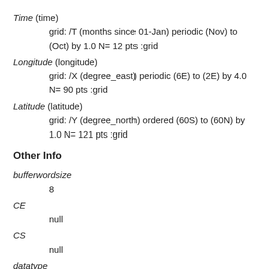Time (time)
    grid: /T (months since 01-Jan) periodic (Nov) to (Oct) by 1.0 N= 12 pts :grid
Longitude (longitude)
    grid: /X (degree_east) periodic (6E) to (2E) by 4.0 N= 90 pts :grid
Latitude (latitude)
    grid: /Y (degree_north) ordered (60S) to (60N) by 1.0 N= 121 pts :grid
Other Info
bufferwordsize
    8
CE
    null
CS
    null
datatype
    doublearraytype
missing_value
    NaN
units